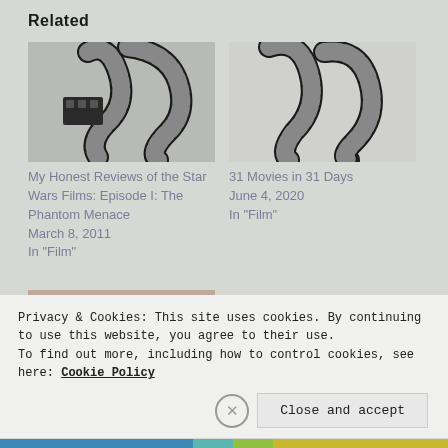Related
[Figure (photo): Film reel / cinema film strip curled, black and white photo]
My Honest Reviews of the Star Wars Films: Episode I: The Phantom Menace
March 8, 2011
In "Film"
[Figure (photo): Film reel / cinema film strip curled, black and white photo]
31 Movies in 31 Days
June 4, 2020
In "Film"
[Figure (photo): Person writing with a red pencil, close-up photo]
Privacy & Cookies: This site uses cookies. By continuing to use this website, you agree to their use.
To find out more, including how to control cookies, see here: Cookie Policy
Close and accept